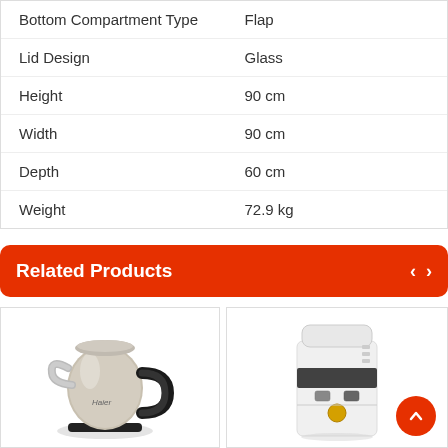| Attribute | Value |
| --- | --- |
| Bottom Compartment Type | Flap |
| Lid Design | Glass |
| Height | 90 cm |
| Width | 90 cm |
| Depth | 60 cm |
| Weight | 72.9 kg |
Related Products
[Figure (photo): Haier stainless steel electric kettle with black handle]
[Figure (photo): White floor-standing water dispenser/cooler]